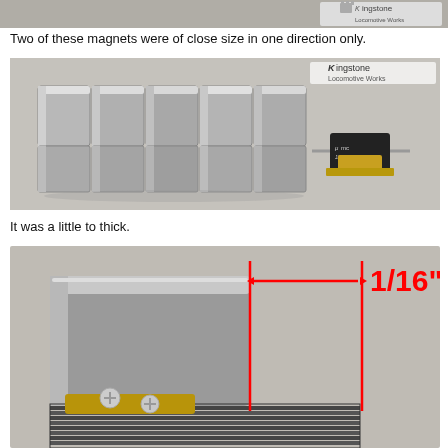[Figure (photo): Partial view of top photo showing magnets and Kingstone Locomotive Works watermark/logo]
Two of these magnets were of close size in one direction only.
[Figure (photo): Photo showing 10 rectangular block magnets arranged in two rows of 5, stacked together, next to a small Japan-labeled motor/servo device. Kingstone Locomotive Works logo in top right corner.]
It was a little to thick.
[Figure (photo): Close-up photo of a magnet placed on top of some component, with red annotation arrows and lines showing a gap measurement of 1/16 inch between the magnet edge and another surface.]